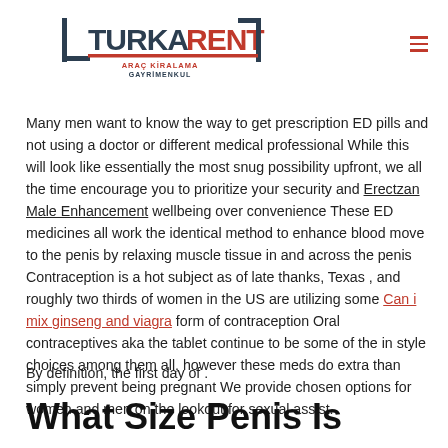[Figure (logo): TurkARent logo with red and dark text, tagline 'ARAÇ KİRALAMA GAYRIMENKUL']
Many men want to know the way to get prescription ED pills and not using a doctor or different medical professional While this will look like essentially the most snug possibility upfront, we all the time encourage you to prioritize your security and Erectzan Male Enhancement wellbeing over convenience These ED medicines all work the identical method to enhance blood move to the penis by relaxing muscle tissue in and across the penis Contraception is a hot subject as of late thanks, Texas , and roughly two thirds of women in the US are utilizing some Can i mix ginseng and viagra form of contraception Oral contraceptives aka the tablet continue to be some of the in style choices among them all, however these meds do extra than simply prevent being pregnant We provide chosen options for women and men on the lookout for sexual assist.
By definition, the first day of .
What Size Penis Is